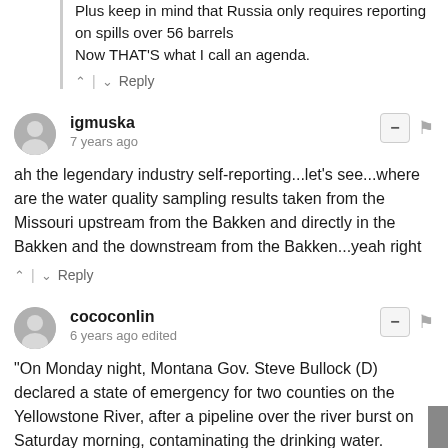Plus keep in mind that Russia only requires reporting on spills over 56 barrels
Now THAT'S what I call an agenda.
↑ | ↓  Reply
igmuska
7 years ago
ah the legendary industry self-reporting...let's see...where are the water quality sampling results taken from the Missouri upstream from the Bakken and directly in the Bakken and the downstream from the Bakken...yeah right
↑ | ↓  Reply
cococonlin
6 years ago edited
"On Monday night, Montana Gov. Steve Bullock (D) declared a state of emergency for two counties on the Yellowstone River, after a pipeline over the river burst on Saturday morning, contaminating the drinking water. Bridger Pipeline LLC, which operates the 12-inch Poplar pipeline, estimates that 300 to 1,200 barrels (2,600 to 50,400 gallons) of light Bakken crude dumped into the Yellowstone before the